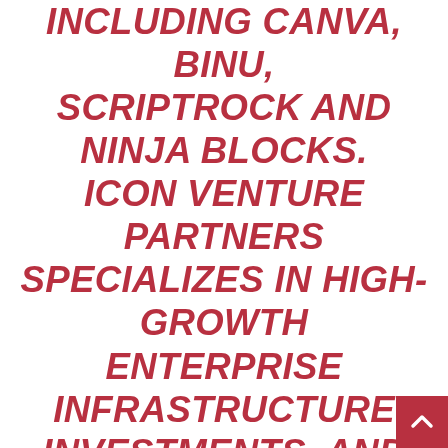INCLUDING CANVA, BINU, SCRIPTROCK AND NINJA BLOCKS. ICON VENTURE PARTNERS SPECIALIZES IN HIGH-GROWTH ENTERPRISE INFRASTRUCTURE INVESTMENTS, AND BRINGS US ACCESS TO A BROAD NETWORK OF ENTERPRISE IT EXPERIENCE THROUGH ITS TECH PARTNERS PROGRAM. PALADIN CAPITAL GROUP HAS AN UNMATCHED RECORD OF SUCCESS IN COMMERCIALISING EARLY-STAGE INVESTMENTS IN SECURITY TECHNOLOGY FOR GOVERNMENT AND PRIVATE ENTERPRISE AND